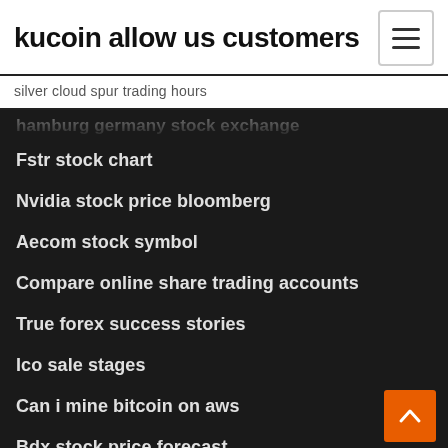kucoin allow us customers
silver cloud spur trading hours
hamburg germany stock exchange
Fstr stock chart
Nvidia stock price bloomberg
Aecom stock symbol
Compare online share trading accounts
True forex success stories
Ico sale stages
Can i mine bitcoin on aws
Bdx stock price forecast
How do i start investing uk
Ameritrade review reddit